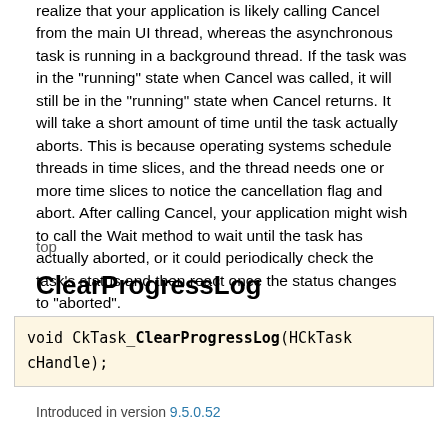realize that your application is likely calling Cancel from the main UI thread, whereas the asynchronous task is running in a background thread. If the task was in the "running" state when Cancel was called, it will still be in the "running" state when Cancel returns. It will take a short amount of time until the task actually aborts. This is because operating systems schedule threads in time slices, and the thread needs one or more time slices to notice the cancellation flag and abort. After calling Cancel, your application might wish to call the Wait method to wait until the task has actually aborted, or it could periodically check the task's status and then react once the status changes to "aborted".
top
ClearProgressLog
void CkTask_ClearProgressLog(HCkTask cHandle);
Introduced in version 9.5.0.52